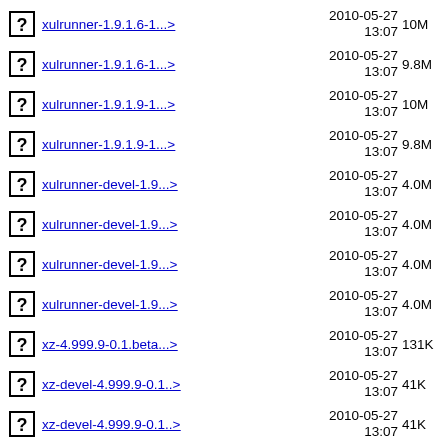xulrunner-1.9.1.6-1...> 2010-05-27 13:07 10M
xulrunner-1.9.1.6-1...> 2010-05-27 13:07 9.8M
xulrunner-1.9.1.9-1...> 2010-05-27 13:07 10M
xulrunner-1.9.1.9-1...> 2010-05-27 13:07 9.8M
xulrunner-devel-1.9...> 2010-05-27 13:07 4.0M
xulrunner-devel-1.9...> 2010-05-27 13:07 4.0M
xulrunner-devel-1.9...> 2010-05-27 13:07 4.0M
xulrunner-devel-1.9...> 2010-05-27 13:07 4.0M
xz-4.999.9-0.1.beta...> 2010-05-27 13:07 131K
xz-devel-4.999.9-0.1..> 2010-05-27 13:07 41K
xz-devel-4.999.9-0.1..> 2010-05-27 13:07 41K
2010-05-27 (truncated)